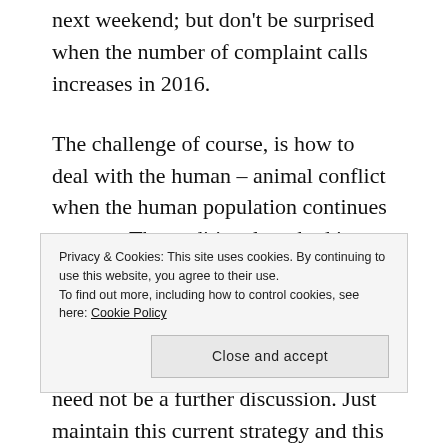next weekend; but don't be surprised when the number of complaint calls increases in 2016.
The challenge of course, is how to deal with the human – animal conflict when the human population continues to grow. The traditional method is to just expand into the territory of wildlife and wildlife be damned. And if humans prefer to live in a world with little wildlife, then there really need not be a further discussion. Just maintain this current strategy and this will happen, and it is happening at a frightening pace.
Privacy & Cookies: This site uses cookies. By continuing to use this website, you agree to their use. To find out more, including how to control cookies, see here: Cookie Policy
Close and accept
p g g